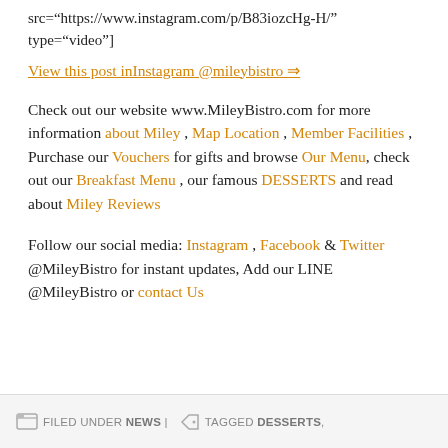src="https://www.instagram.com/p/B83iozcHg-H/" type="video"]
View this post inInstagram @mileybistro ⇒
Check out our website www.MileyBistro.com for more information about Miley , Map Location , Member Facilities , Purchase our Vouchers for gifts and browse Our Menu, check out our Breakfast Menu , our famous DESSERTS and read about Miley Reviews
Follow our social media: Instagram , Facebook & Twitter @MileyBistro for instant updates, Add our LINE @MileyBistro or contact Us
FILED UNDER NEWS | TAGGED DESSERTS,